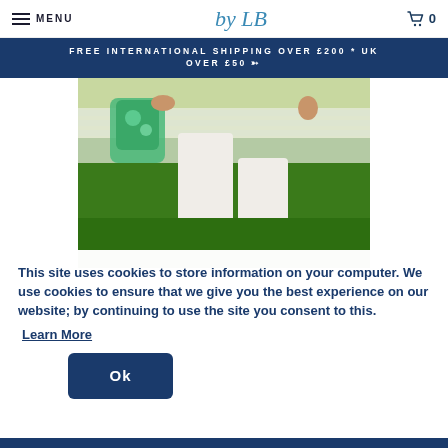MENU | by LB logo | 0 (cart)
FREE INTERNATIONAL SHIPPING OVER £200 * UK OVER £50 →
[Figure (photo): Woman sitting on a white bench outdoors on green grass, wearing white trousers and beige lace-up espadrille sandals, holding a green patterned bag.]
This site uses cookies to store information on your computer. We use cookies to ensure that we give you the best experience on our website; by continuing to use the site you consent to this.
Learn More
Ok